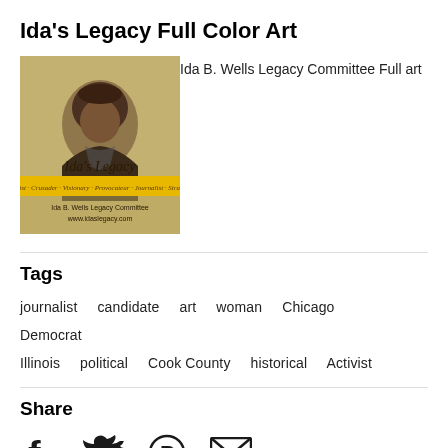Ida's Legacy Full Color Art
[Figure (illustration): Ida's Legacy artwork — sepia-toned portrait of Ida B. Wells with 'Ida's Legacy' script text and yellow banner, Ida B. Wells Legacy Committee, www.idaslegacy.com]
Ida B. Wells Legacy Committee Full art
Tags
journalist  candidate  art  woman  Chicago  Democrat  Illinois  political  Cook County  historical  Activist
Share
[Figure (infographic): Social share icons: Facebook, Twitter, Pinterest, Email]